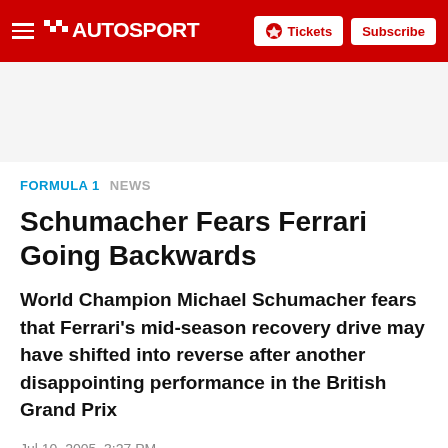AUTOSPORT — Tickets Subscribe
FORMULA 1  NEWS
Schumacher Fears Ferrari Going Backwards
World Champion Michael Schumacher fears that Ferrari's mid-season recovery drive may have shifted into reverse after another disappointing performance in the British Grand Prix
Jul 10, 2005, 3:27 PM